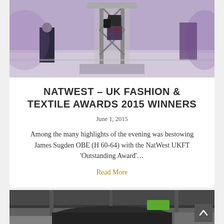[Figure (photo): Event photo showing people at an awards ceremony with a metal truss podium/stand in the center, a person in a tartan/plaid outfit visible near the podium, and audience members in the background with purple lighting]
NATWEST – UK FASHION & TEXTILE AWARDS 2015 WINNERS
June 1, 2015
Among the many highlights of the evening was bestowing James Sugden OBE (H 60-64) with the NatWest UKFT 'Outstanding Award'…
Read More
[Figure (photo): Partial photo at bottom of page showing a car or vehicle scene, partially cropped]